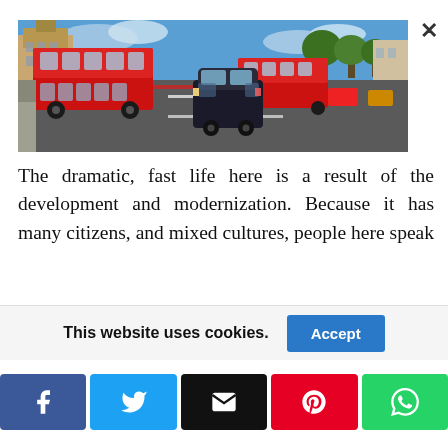[Figure (photo): London street scene with red double-decker buses and a black cab on a wide road, with Big Ben and trees visible in the background]
The dramatic, fast life here is a result of the development and modernization. Because it has many citizens, and mixed cultures, people here speak over 300 languages. There is something that represents every culture here, like different restaurants, different shops, and clothes… So here, you have a variety of nationalities, all merged
This website uses cookies.
[Figure (other): Social share buttons: Facebook, Twitter, Email, Pinterest, WhatsApp]